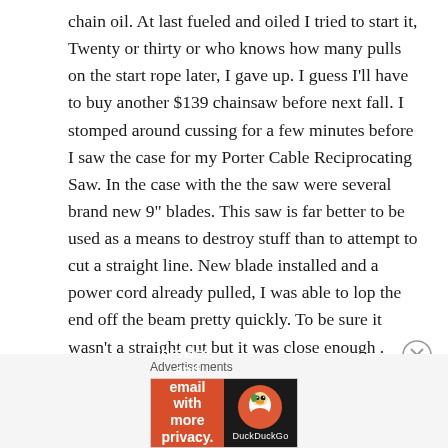chain oil. At last fueled and oiled I tried to start it, Twenty or thirty or who knows how many pulls on the start rope later, I gave up. I guess I'll have to buy another $139 chainsaw before next fall. I stomped around cussing for a few minutes before I saw the case for my Porter Cable Reciprocating Saw. In the case with the the saw were several brand new 9" blades. This saw is far better to be used as a means to destroy stuff than to attempt to cut a straight line. New blade installed and a power cord already pulled, I was able to lop the end off the beam pretty quickly. To be sure it wasn't a straight cut but it was close enough . Anyway, another mostly unproductive hour gone.
[Figure (other): DuckDuckGo advertisement banner with orange background on left reading 'Search, browse, and email with more privacy. All in One Free App' and dark background on right with DuckDuckGo logo and text.]